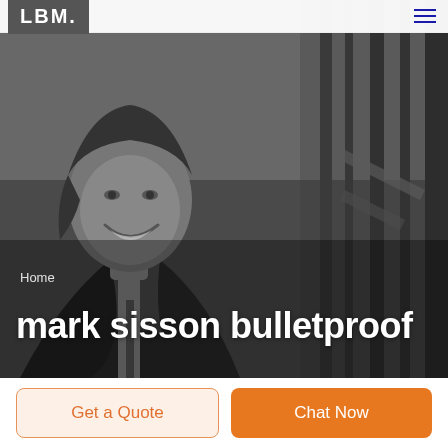LBM [logo] | hamburger menu
[Figure (photo): Grayscale photo of a smiling man in a dark suit and tie, with blurred background featuring vertical structural elements]
Home
mark sisson bulletproof
Get a Quote
Chat Now